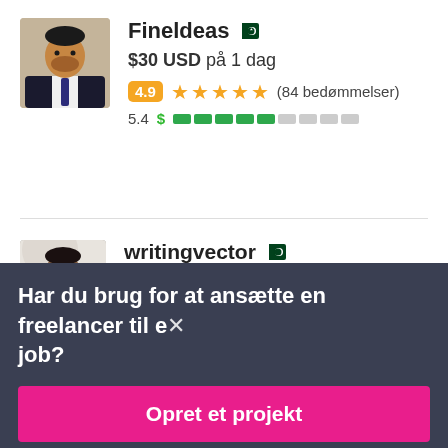[Figure (photo): Profile photo of freelancer Fineldeas, man in suit]
Fineldeas 🇵🇰 $30 USD på 1 dag 4.9 ★★★★★ (84 bedømmelser) 5.4 $ ▮▮▮▮▮░░░░
[Figure (photo): Profile photo of freelancer writingvector, man in suit]
writingvector 🇵🇰 $30 USD på 1 dag
Har du brug for at ansætte en freelancer til et job?
Opret et projekt